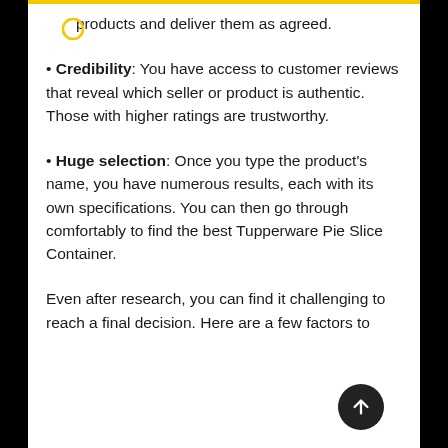products and deliver them as agreed.
Credibility: You have access to customer reviews that reveal which seller or product is authentic. Those with higher ratings are trustworthy.
Huge selection: Once you type the product's name, you have numerous results, each with its own specifications. You can then go through comfortably to find the best Tupperware Pie Slice Container.
Even after research, you can find it challenging to reach a final decision. Here are a few factors to